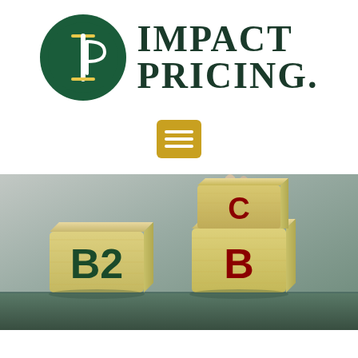[Figure (logo): Impact Pricing logo: dark green circle with IP lettermark in white/gold, next to bold serif text reading IMPACT PRICING. with a period]
[Figure (other): Yellow/gold hamburger menu icon button with three white horizontal lines on gold background]
[Figure (photo): Photo of two wooden letter blocks on a surface. Left block reads B2 in dark green, right block reads B in dark red/maroon. A hand is placing a third block with C on top of the right block. Background is blurred grey-green.]